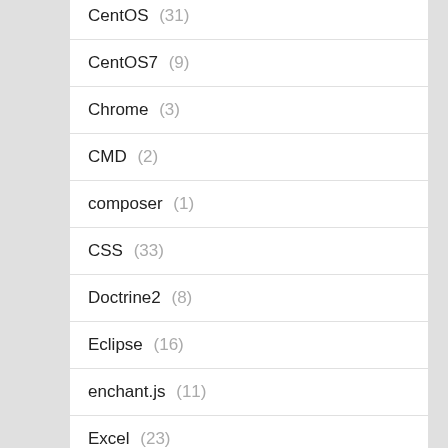CentOS (31)
CentOS7 (9)
Chrome (3)
CMD (2)
composer (1)
CSS (33)
Doctrine2 (8)
Eclipse (16)
enchant.js (11)
Excel (23)